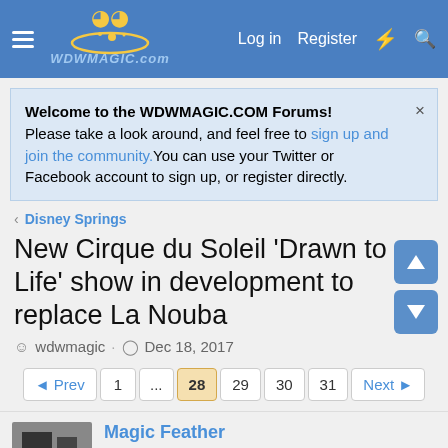WDWMAGIC.COM — Log in  Register
Welcome to the WDWMAGIC.COM Forums! Please take a look around, and feel free to sign up and join the community.You can use your Twitter or Facebook account to sign up, or register directly.
Disney Springs
New Cirque du Soleil 'Drawn to Life' show in development to replace La Nouba
wdwmagic · Dec 18, 2017
Prev  1  ...  28  29  30  31  Next
Magic Feather
Well-Known Member
Apr 23, 2022  #541